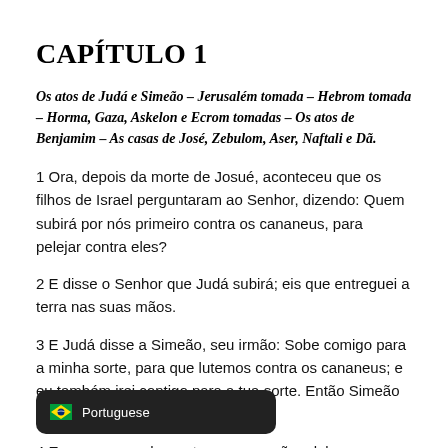CAPÍTULO 1
Os atos de Judá e Simeão – Jerusalém tomada – Hebrom tomada – Horma, Gaza, Askelon e Ecrom tomadas – Os atos de Benjamim – As casas de José, Zebulom, Aser, Naftali e Dã.
1 Ora, depois da morte de Josué, aconteceu que os filhos de Israel perguntaram ao Senhor, dizendo: Quem subirá por nós primeiro contra os cananeus, para pelejar contra eles?
2 E disse o Senhor que Judá subirá; eis que entreguei a terra nas suas mãos.
3 E Judá disse a Simeão, seu irmão: Sobe comigo para a minha sorte, para que lutemos contra os cananeus; e eu também irei contigo para a tua sorte. Então Simeão foi com ele.
4 E … nhor entregou nas mãos deles os can… …s; e deles mataram em Bezek dez